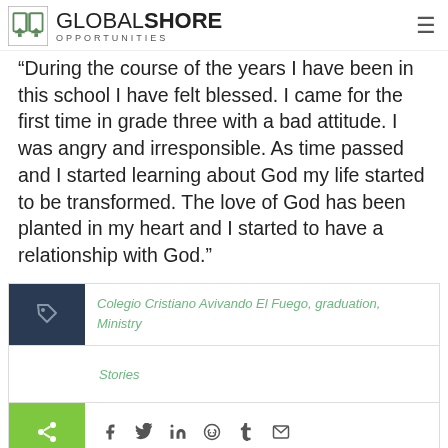GLOBAL SHORE OPPORTUNITIES
“During the course of the years I have been in this school I have felt blessed. I came for the first time in grade three with a bad attitude. I was angry and irresponsible. As time passed and I started learning about God my life started to be transformed. The love of God has been planted in my heart and I started to have a relationship with God.”
Colegio Cristiano Avivando El Fuego, graduation, Ministry Stories